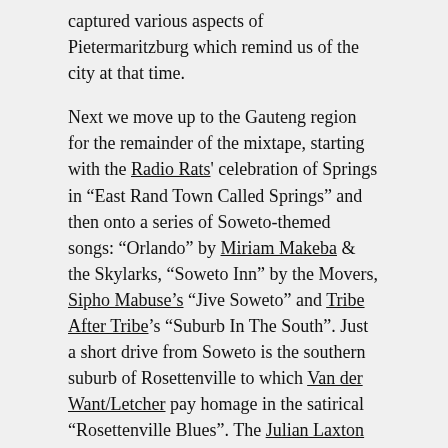captured various aspects of Pietermaritzburg which remind us of the city at that time.

Next we move up to the Gauteng region for the remainder of the mixtape, starting with the Radio Rats' celebration of Springs in "East Rand Town Called Springs" and then onto a series of Soweto-themed songs: "Orlando" by Miriam Makeba & the Skylarks, "Soweto Inn" by the Movers, Sipho Mabuse's "Jive Soweto" and Tribe After Tribe's "Suburb In The South". Just a short drive from Soweto is the southern suburb of Rosettenville to which Van der Want/Letcher pay homage in the satirical "Rosettenville Blues". The Julian Laxton Band contribute the offbeat "Johannesburg" and the Gereformeerde Blues Band pay tribute to Hillbrow with a classic Voëlvry song of that name. Then on to "Living In Yeoville" by the Aeroplanes, a song which will tweak on the heartstrings of lefties who lived in Yeoville in the 1980s and 1990s.